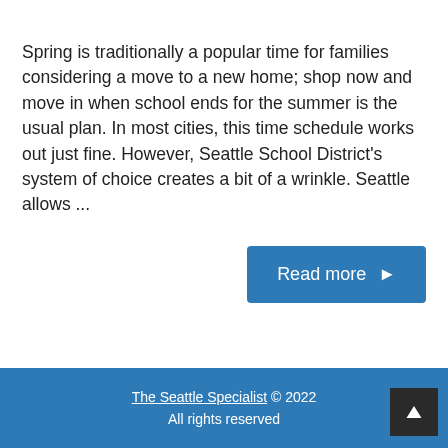Spring is traditionally a popular time for families considering a move to a new home; shop now and move in when school ends for the summer is the usual plan. In most cities, this time schedule works out just fine. However, Seattle School District's system of choice creates a bit of a wrinkle. Seattle allows ...
[Figure (other): A blue 'Read more' button with a right-pointing arrow]
The Seattle Specialist © 2022 All rights reserved